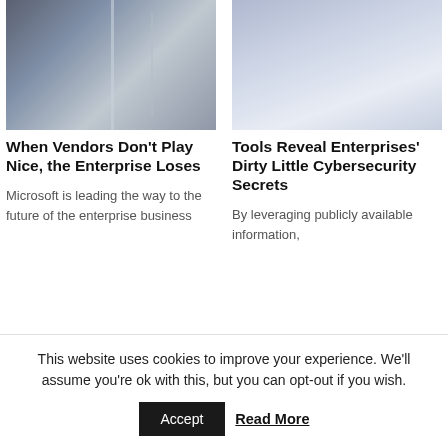[Figure (photo): Person in dark suit reaching toward a glass door with a conference room visible in the background]
When Vendors Don’t Play Nice, the Enterprise Loses
Microsoft is leading the way to the future of the enterprise business
[Figure (photo): A tiny figurine of a businessman in suit standing on an open palm hand, with a person in light blue shirt and tie visible in background]
Tools Reveal Enterprises’ Dirty Little Cybersecurity Secrets
By leveraging publicly available information,
This website uses cookies to improve your experience. We’ll assume you’re ok with this, but you can opt-out if you wish.
Accept
Read More